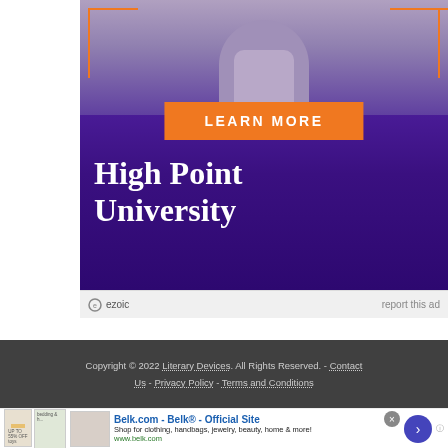[Figure (photo): High Point University advertisement banner with orange 'LEARN MORE' button, student photo at top, purple/violet gradient background, and large white serif text reading 'High Point University']
ezoic  report this ad
Copyright © 2022 Literary Devices. All Rights Reserved. - Contact Us - Privacy Policy - Terms and Conditions
[Figure (screenshot): Belk.com advertisement banner: 'Belk.com - Belk® - Official Site' with description 'Shop for clothing, handbags, jewelry, beauty, home & more!' and URL www.belk.com]